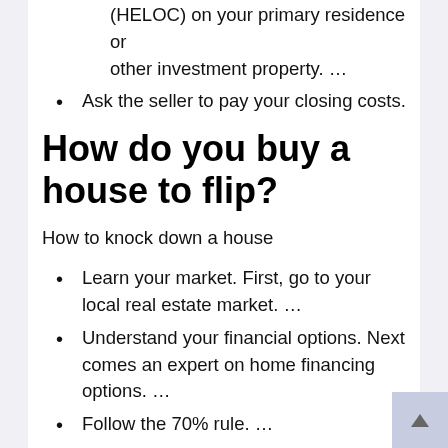(HELOC) on your primary residence or other investment property. …
Ask the seller to pay your closing costs.
How do you buy a house to flip?
How to knock down a house
Learn your market. First, go to your local real estate market. …
Understand your financial options. Next comes an expert on home financing options. …
Follow the 70% rule. …
Learn to negotiate. …
Learn How Much Average Projects Cost.